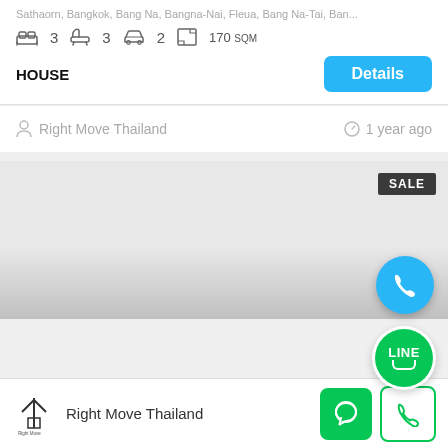...Bangkok, Bangna, Bangna-Nai, Fleua, Bang Na-Tai, Ban...
3 bedrooms  3 bathrooms  2 parking  170 SQM
HOUSE
Details
Right Move Thailand
1 year ago
[Figure (photo): Property listing image placeholder with SALE badge]
SALE
[Figure (other): Blue phone call floating action button]
[Figure (other): Green LINE app floating action button]
Right Move Thailand
[Figure (logo): Right Move Thailand logo in footer]
[Figure (other): Green chat button in footer]
[Figure (other): Green outlined phone button in footer]